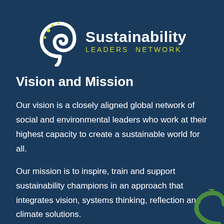[Figure (logo): Sustainability Leaders Network logo with a white spiral/koru icon on the left and text 'Sustainability LEADERS NETWORK' on the right, with 'Sustainability' in white bold and 'LEADERS NETWORK' in yellow-green]
Vision and Mission
Our vision is a closely aligned global network of social and environmental leaders who work at their highest capacity to create a sustainable world for all.
Our mission is to inspire, train and support sustainability champions in an approach that integrates vision, systems thinking, reflection and climate solutions.